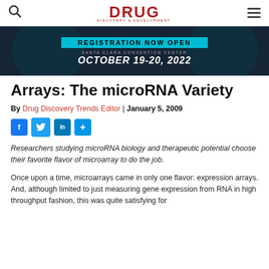DRUG DISCOVERY & DEVELOPMENT
[Figure (photo): Conference advertisement banner: dark background with teal registration bar, text 'REGISTRATION NOW OPEN', 'SANTA CLARA CONVENTION CENTER', 'OCTOBER 19-20, 2022']
Arrays: The microRNA Variety
By Drug Discovery Trends Editor | January 5, 2009
Researchers studying microRNA biology and therapeutic potential choose their favorite flavor of microarray to do the job.
Once upon a time, microarrays came in only one flavor: expression arrays. And, although limited to just measuring gene expression from RNA in high throughput fashion, this was quite satisfying for